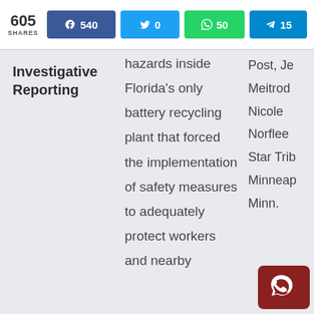605 SHARES  f 540  0  50  15
Investigative Reporting
hazards inside Florida's only battery recycling plant that forced the implementation of safety measures to adequately protect workers and nearby
Post, Je Meitrod Nicole Norflee Star Trib Minneap Minn.